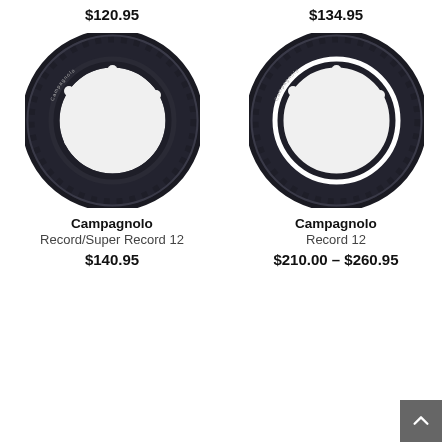$120.95
$134.95
[Figure (photo): Campagnolo bicycle chainring - Record/Super Record 12 speed, black anodized aluminum, round with teeth around perimeter and mounting holes]
[Figure (photo): Campagnolo bicycle chainring - Record 12 speed, black anodized aluminum, round with teeth around perimeter and mounting holes]
Campagnolo
Record/Super Record 12
Campagnolo
Record 12
$140.95
$210.00 – $260.95